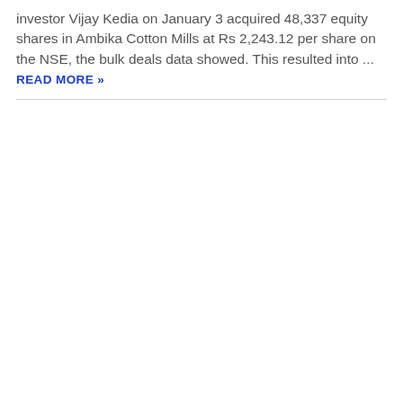investor Vijay Kedia on January 3 acquired 48,337 equity shares in Ambika Cotton Mills at Rs 2,243.12 per share on the NSE, the bulk deals data showed. This resulted into ... READ MORE »